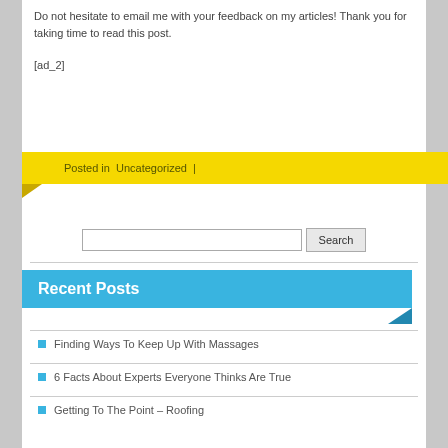Do not hesitate to email me with your feedback on my articles! Thank you for taking time to read this post.
[ad_2]
Posted in  Uncategorized  |
Search
Recent Posts
Finding Ways To Keep Up With Massages
6 Facts About Experts Everyone Thinks Are True
Getting To The Point – Roofing